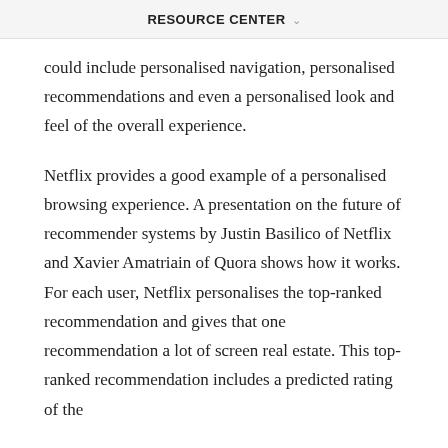RESOURCE CENTER
could include personalised navigation, personalised recommendations and even a personalised look and feel of the overall experience.
Netflix provides a good example of a personalised browsing experience. A presentation on the future of recommender systems by Justin Basilico of Netflix and Xavier Amatriain of Quora shows how it works. For each user, Netflix personalises the top-ranked recommendation and gives that one recommendation a lot of screen real estate. This top-ranked recommendation includes a predicted rating of the